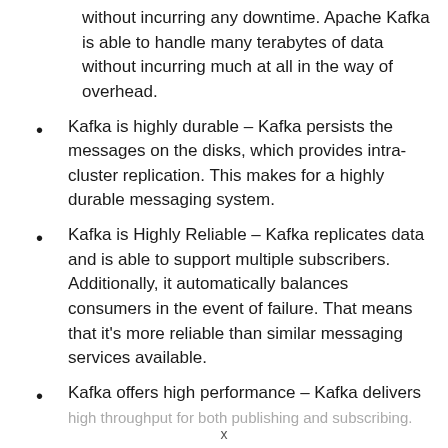without incurring any downtime. Apache Kafka is able to handle many terabytes of data without incurring much at all in the way of overhead.
Kafka is highly durable – Kafka persists the messages on the disks, which provides intra-cluster replication. This makes for a highly durable messaging system.
Kafka is Highly Reliable – Kafka replicates data and is able to support multiple subscribers. Additionally, it automatically balances consumers in the event of failure. That means that it's more reliable than similar messaging services available.
Kafka offers high performance – Kafka delivers high throughput for both publishing and subscribing.
x